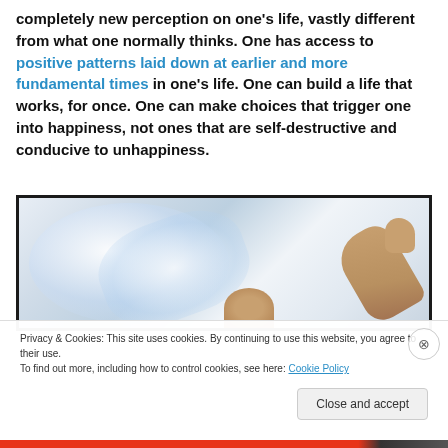completely new perception on one's life, vastly different from what one normally thinks. One has access to positive patterns laid down at earlier and more fundamental times in one's life. One can build a life that works, for once. One can make choices that trigger one into happiness, not ones that are self-destructive and conducive to unhappiness.
[Figure (photo): A photo showing a person with arm raised against a bright, light-filled background suggesting freedom or liberation.]
Privacy & Cookies: This site uses cookies. By continuing to use this website, you agree to their use. To find out more, including how to control cookies, see here: Cookie Policy